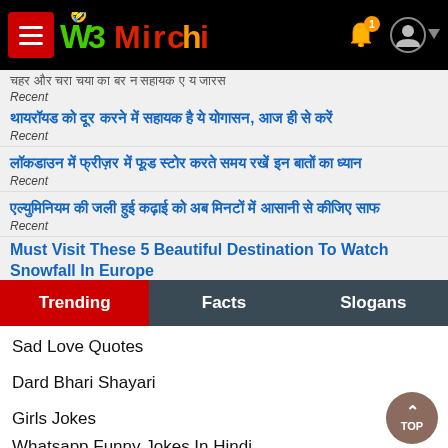W3Mirchi - navigation header with menu, logo, bell notification, and user icon
चहर और चरा चया का बर न सहायक ए य जारस
Recent
थायरॉयड को दूर करने में सहायक है ये योगासन, आज ही से करें
Recent
लॉकडाउन में फ्रीज़र में फूड स्टोर करते समय रखें इन बातों का ध्यान
Recent
एल्युमिनियम की जली हुई कढ़ाई को अब मिनटों में आसानी से कीजिए साफ
Recent
Must Visit These 5 Beautiful Destination To Watch Snowfall In Europe
Recent
Trending | Facts | Slogans
Sad Love Quotes
Dard Bhari Shayari
Girls Jokes
Whatsapp Funny Jokes In Hindi
Yaadein Shayari